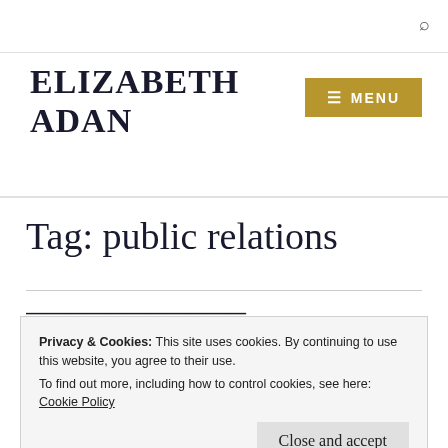ELIZABETH ADAN
≡ MENU
Tag: public relations
Privacy & Cookies: This site uses cookies. By continuing to use this website, you agree to their use.
To find out more, including how to control cookies, see here:
Cookie Policy
Close and accept